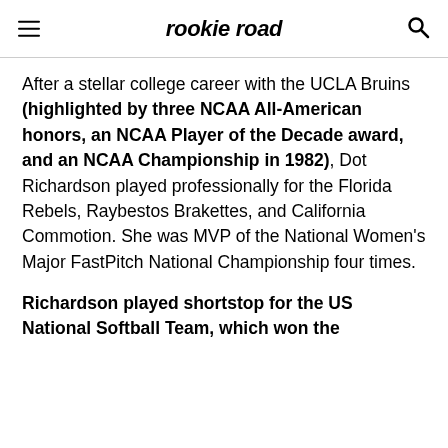rookie road
After a stellar college career with the UCLA Bruins (highlighted by three NCAA All-American honors, an NCAA Player of the Decade award, and an NCAA Championship in 1982), Dot Richardson played professionally for the Florida Rebels, Raybestos Brakettes, and California Commotion. She was MVP of the National Women's Major FastPitch National Championship four times.
Richardson played shortstop for the US National Softball Team, which won the